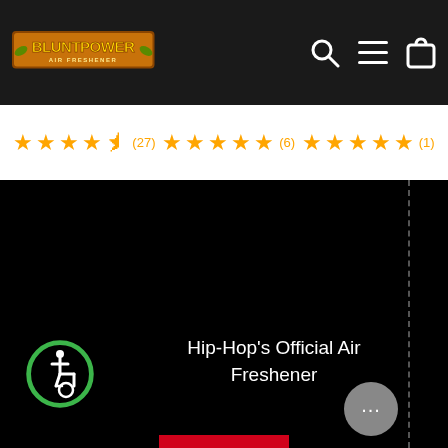BluntPower Air Freshener — navigation bar with logo, search, menu, and cart icons
★★★★½ (27)   ★★★★★ (6)   ★★★★★ (1)
[Figure (logo): Accessibility wheelchair icon — green circle with white wheelchair symbol]
Hip-Hop's Official Air Freshener
[Figure (logo): XXL magazine logo — red rectangle with white bold italic XXL text]